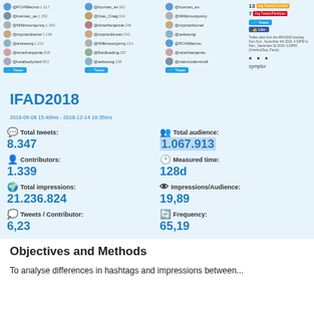[Figure (screenshot): Twitter analytics panel showing top contributors for #IFAD2018 hashtag with avatars and tweet counts, plus engagement stats (13 avg tweets/contributor, 7 avg tweets/participant), tweet and like buttons, and Symplur branding with footnote about data collection period.]
IFAD2018
2018-09-08 15:40hrs - 2018-12-14 16:35hrs
Total tweets: 8.347
Total audience: 1.067.913
Contributors: 1.339
Measured time: 128d
Total impressions: 21.236.824
Impressions/Audience: 19,89
Tweets / Contributor: 6,23
Frequency: 65,19
Objectives and Methods
To analyse differences in hashtags and impressions between...